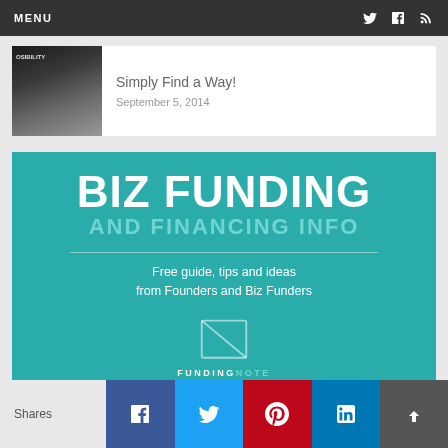MENU
Simply Find a Way!
September 5, 2014
[Figure (infographic): BIZ FUNDING AND FINANCING INFO - Free guide, tips and ideas from Founders and Biz Funders - FundingNote logo]
Shares